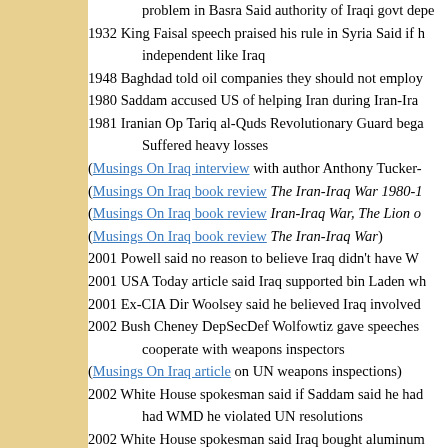problem in Basra Said authority of Iraqi govt depe
1932 King Faisal speech praised his rule in Syria Said if h independent like Iraq
1948 Baghdad told oil companies they should not employ
1980 Saddam accused US of helping Iran during Iran-Ira
1981 Iranian Op Tariq al-Quds Revolutionary Guard bega Suffered heavy losses
(Musings On Iraq interview with author Anthony Tucker-
(Musings On Iraq book review The Iran-Iraq War 1980-1
(Musings On Iraq book review Iran-Iraq War, The Lion o
(Musings On Iraq book review The Iran-Iraq War)
2001 Powell said no reason to believe Iraq didn't have W
2001 USA Today article said Iraq supported bin Laden wh
2001 Ex-CIA Dir Woolsey said he believed Iraq involved
2002 Bush Cheney DepSecDef Wolfowtiz gave speeches cooperate with weapons inspectors
(Musings On Iraq article on UN weapons inspections)
2002 White House spokesman said if Saddam said he had had WMD he violated UN resolutions
2002 White House spokesman said Iraq bought aluminum